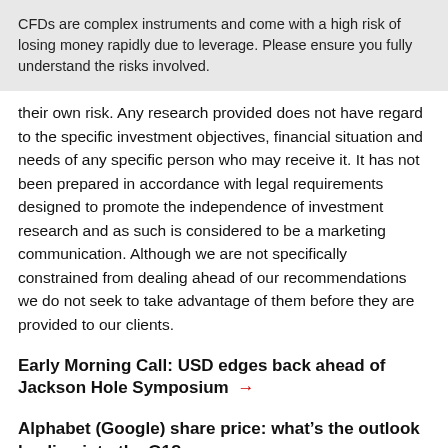CFDs are complex instruments and come with a high risk of losing money rapidly due to leverage. Please ensure you fully understand the risks involved.
their own risk. Any research provided does not have regard to the specific investment objectives, financial situation and needs of any specific person who may receive it. It has not been prepared in accordance with legal requirements designed to promote the independence of investment research and as such is considered to be a marketing communication. Although we are not specifically constrained from dealing ahead of our recommendations we do not seek to take advantage of them before they are provided to our clients.
Early Morning Call: USD edges back ahead of Jackson Hole Symposium →
Alphabet (Google) share price: what's the outlook leading into the Q1? →
FAANG Index Preview: Apple, Facebook, and Amazon Share Price Outlook